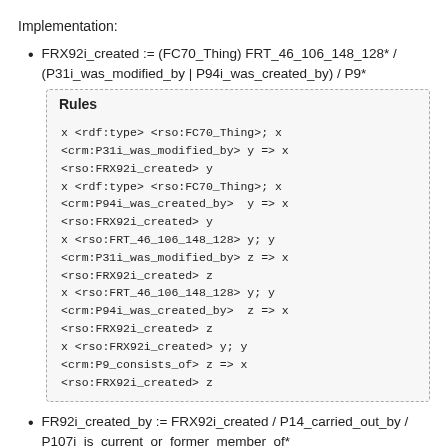Implementation:
FRX92i_created := (FC70_Thing) FRT_46_106_148_128* / (P31i_was_modified_by | P94i_was_created_by) / P9*
Rules
x <rdf:type> <rso:FC70_Thing>; x <crm:P31i_was_modified_by> y => x <rso:FRX92i_created> y
x <rdf:type> <rso:FC70_Thing>; x <crm:P94i_was_created_by>  y => x <rso:FRX92i_created> y
x <rso:FRT_46_106_148_128> y; y <crm:P31i_was_modified_by> z => x <rso:FRX92i_created> z
x <rso:FRT_46_106_148_128> y; y <crm:P94i_was_created_by>  z => x <rso:FRX92i_created> z
x <rso:FRX92i_created> y; y <crm:P9_consists_of> z => x <rso:FRX92i_created> z
FR92i_created_by := FRX92i_created / P14_carried_out_by / P107i_is_current_or_former_member_of*
Rules